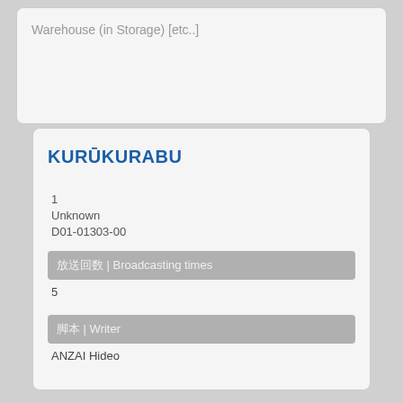Warehouse (in Storage) [etc..]
KURŪKURABU
1
Unknown
D01-01303-00
放送回数 | Broadcasting times
5
脚本 | Writer
ANZAI Hideo